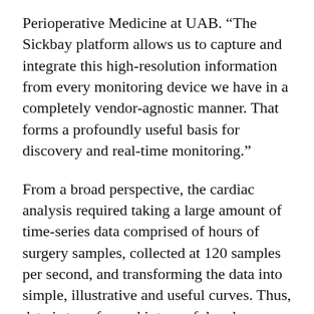Perioperative Medicine at UAB. “The Sickbay platform allows us to capture and integrate this high-resolution information from every monitoring device we have in a completely vendor-agnostic manner. That forms a profoundly useful basis for discovery and real-time monitoring.”
From a broad perspective, the cardiac analysis required taking a large amount of time-series data comprised of hours of surgery samples, collected at 120 samples per second, and transforming the data into simple, illustrative and useful curves. Thus, data is transformed into useful and actionable information. What made the pilot unusual was its scope. While similar analyses have been done previously, they addressed a single patient at a time. The